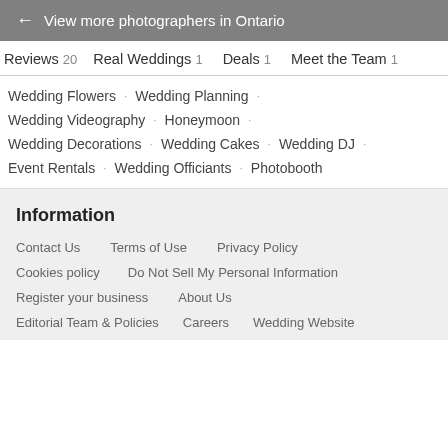← View more photographers in Ontario
Reviews 20   Real Weddings 1   Deals 1   Meet the Team 1
Wedding Flowers · Wedding Planning ·
Wedding Videography · Honeymoon ·
Wedding Decorations · Wedding Cakes · Wedding DJ ·
Event Rentals · Wedding Officiants · Photobooth
Information
Contact Us   Terms of Use   Privacy Policy
Cookies policy   Do Not Sell My Personal Information
Register your business   About Us
Editorial Team & Policies   Careers   Wedding Website